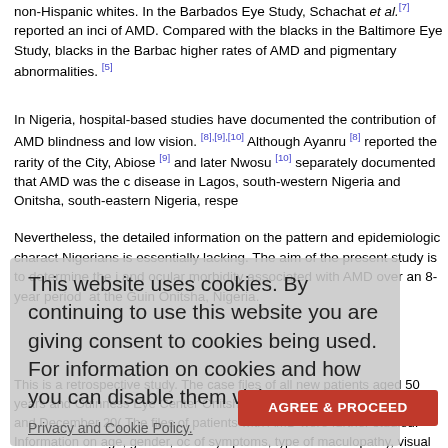non-Hispanic whites. In the Barbados Eye Study, Schachat et al.[7] reported an inci of AMD. Compared with the blacks in the Baltimore Eye Study, blacks in the Barbac higher rates of AMD and pigmentary abnormalities. [5]
In Nigeria, hospital-based studies have documented the contribution of AMD blindness and low vision. [8],[9],[10] Although Ayanru [8] reported the rarity of the City, Abiose [9] and later Nwosu [10] separately documented that AMD was the c disease in Lagos, south-western Nigeria and Onitsha, south-eastern Nigeria, respe
Nevertheless, the detailed information on the pattern and epidemiologic charact Nigerians is essentially lacking. The aim of the present study is to determine the i and ocular morbidity associated with AMD over an 8-year period at the Guin Onitsha, Nigeria.
[Figure (screenshot): Cookie consent overlay reading: 'This website uses cookies. By continuing to use this website you are giving consent to cookies being used. For information on cookies and how you can disable them visit our Privacy and Cookie Policy.' with an AGREE & PROCEED button.]
This is a retrospective study. The case files of all new patients aged 50 years and Guinness Eye Center Onitsha, Nigeria, between January 1997 and December 20( The files of patients with AMD were further studied. Information on age, gender, oc of symptoms, type of maculopathy, visual acuity, ocular, and systemic comorbidities standard proforma and analyzed.